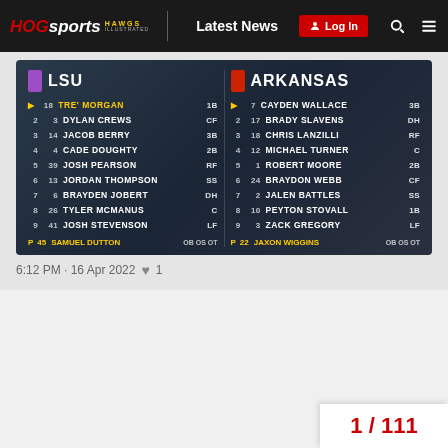HOGsports HAWGS Illustrated – Latest News – Log In
[Figure (infographic): Baseball lineup card showing LSU vs Arkansas starting lineups. LSU: 1. 18 TRE' MORGAN 1B, 2. 3 DYLAN CREWS CF, 3. 14 JACOB BERRY 3B, 4. 4 CADE DOUGHTY 2B, 5. 39 JOSH PEARSON RF, 6. 13 JORDAN THOMPSON SS, 7. 6 BRAYDEN JOBERT DH, 8. 26 TYLER MCMANUS C, 9. 41 JOSH STEVENSON LF, P 45 SAMUEL DUTTON. Arkansas: 1. 7 CAYDEN WALLACE 3B, 2. 17 BRADY SLAVENS DH, 3. 18 CHRIS LANZILLI RF, 4. 12 MICHAEL TURNER C, 5. 1 ROBERT MOORE 2B, 6. 24 BRAYDON WEBB CF, 7. 2 JALEN BATTLES SS, 8. 10 PEYTON STOVALL 1B, 9. 3 ZACK GREGORY LF, P 22 JAXON WIGGINS.]
6:12 PM · 16 Apr 2022 ♥ 1
1 / 111